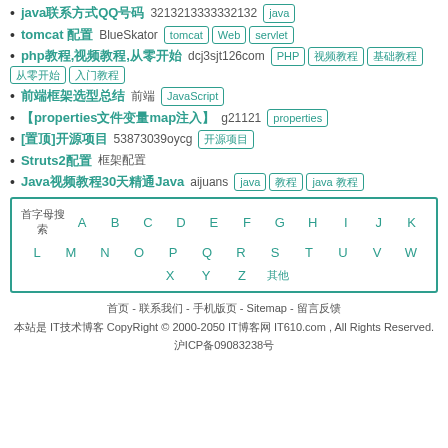java联系方式QQ号码 3213213333332132  java
tomcat配置  BlueSkator  tomcat  Web  servlet
php教程,视频教程,从零开始  dcj3sjt126com  PHP  视频教程  基础教程  从零开始  入门教程
前端框架选型总结  前端  JavaScript
【properties文件变量map注入】  g21121  properties
[置顶]开源项目  53873039oycg  开源项目
Struts2配置  框架配置
Java视频教程30天精通Java  aijuans  java  教程  java 教程
| 首字母搜索 | A | B | C | D | E | F | G | H | I | J | K | L | M | N | O | P | Q | R | S | T | U | V | W | X | Y | Z | 其他 |
| --- | --- | --- | --- | --- | --- | --- | --- | --- | --- | --- | --- | --- | --- | --- | --- | --- | --- | --- | --- | --- | --- | --- | --- | --- | --- | --- | --- |
首页 - 联系我们 - 手机版页 - Sitemap - 留言反馈
本站是 IT技术博客 CopyRight © 2000-2050 IT博客网 IT610.com , All Rights Reserved.
沪ICP备09083238号